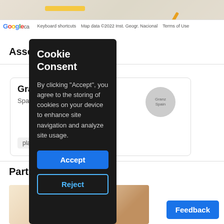[Figure (screenshot): Google Maps strip at top of page showing map area with road labels and Google logo bar with attribution text: Keyboard shortcuts, Map data ©2022 Inst. Geogr. Nacional, Terms of Use]
Asso
[Figure (screenshot): Card showing 'Gra' title, 'Spai' subtitle, circular image with text 'Granz Spain', and 'plac' tag button]
Part o
[Figure (screenshot): Bottom image strip showing partial photo]
[Figure (screenshot): Cookie Consent overlay popup with title 'Cookie Consent', body text 'By clicking "Accept", you agree to the storing of cookies on your device to enhance site navigation and analyze site usage.', Accept button (blue), Reject button (outlined)]
Feedback